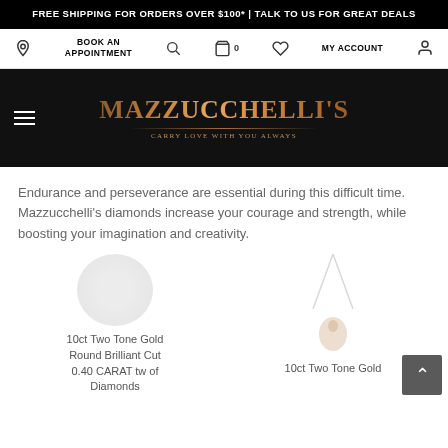FREE SHIPPING FOR ORDERS OVER $100* | TALK TO US FOR GREAT DEALS
BOOK AN APPOINTMENT
[Figure (screenshot): Mazzucchelli's jewellery website header with navigation bar showing location icon, Book an Appointment link, search icon, cart icon with 0, heart icon, MY ACCOUNT text and user icon]
[Figure (logo): Mazzucchelli's logo with rose gold gradient text and tagline CARRY LOVE WITH YOU ALWAYS on dark background]
Endurance and perseverance are essential during this difficult time. Mazzucchelli's diamonds increase your courage and strength, while boosting your imagination and creativity.
[Figure (photo): 10ct Two Tone Gold Round Brilliant Cut 0.40 CARAT tw of Diamonds product image]
10ct Two Tone Gold Round Brilliant Cut 0.40 CARAT tw of Diamonds
[Figure (photo): 10ct Two Tone Gold necklace product image showing a delicate pendant on chain]
10ct Two Tone Gold